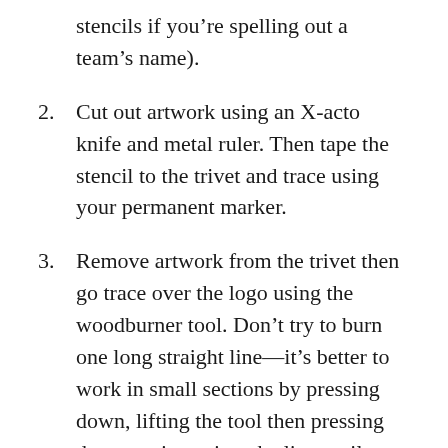stencils if you’re spelling out a team’s name).
2. Cut out artwork using an X-acto knife and metal ruler. Then tape the stencil to the trivet and trace using your permanent marker.
3. Remove artwork from the trivet then go trace over the logo using the woodburner tool. Don’t try to burn one long straight line—it’s better to work in small sections by pressing down, lifting the tool then pressing down again against the line until you’ve drawn the entire line. To get a thicker line, draw 2 lines and burn along the inside of each line then touch up any areas within the lines that have not yet been burned.